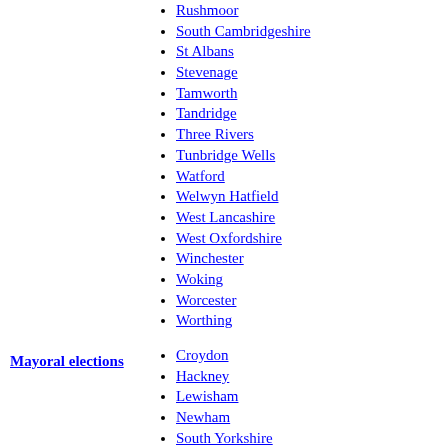Rushmoor
South Cambridgeshire
St Albans
Stevenage
Tamworth
Tandridge
Three Rivers
Tunbridge Wells
Watford
Welwyn Hatfield
West Lancashire
West Oxfordshire
Winchester
Woking
Worcester
Worthing
Mayoral elections
Croydon
Hackney
Lewisham
Newham
South Yorkshire
Tower Hamlets
Watford